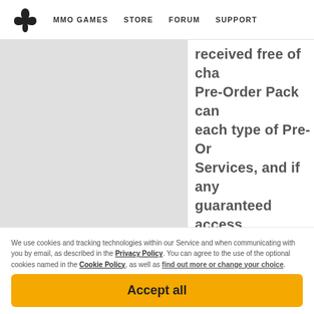MMO GAMES   STORE   FORUM   SUPPORT
[Figure (illustration): Grey placeholder image area on the left side of the page]
received free of charge, Pre-Order Pack can each type of Pre-Order Services, and if any guaranteed access Pre-Order Pack is p Pre-Order Pack with remain unchanged, component of the P Pre-Order Packs, as
We use cookies and tracking technologies within our Service and when communicating with you by email, as described in the Privacy Policy. You can agree to the use of the optional cookies named in the Cookie Policy, as well as find out more or change your choice.
Accept all